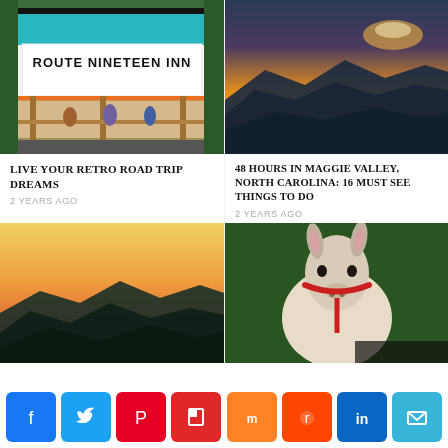[Figure (photo): Route Nineteen Inn storefront with teal and white sign, people on porch]
[Figure (photo): Blue Ridge mountains at sunset with orange and purple sky]
LIVE YOUR RETRO ROAD TRIP DREAMS
2 YEARS AGO
48 HOURS IN MAGGIE VALLEY, NORTH CAROLINA: 16 MUST SEE THINGS TO DO
2 YEARS AGO
[Figure (photo): Smoky mountain sunset with orange gradient sky and mountain silhouettes]
[Figure (photo): Close-up of a llama or donkey with red harness in green foliage]
Share buttons: Facebook, Twitter, Pinterest, Flipboard, Mix, Reddit, LinkedIn, Email